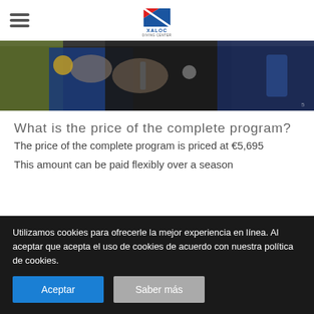Xaloc Diving Center logo and navigation
[Figure (photo): Close-up photo of scuba divers preparing equipment, showing hands adjusting BCD and diving gear]
What is the price of the complete program?
The price of the complete program is priced at €5,695
This amount can be paid flexibly over a season
Utilizamos cookies para ofrecerle la mejor experiencia en línea. Al aceptar que acepta el uso de cookies de acuerdo con nuestra política de cookies.